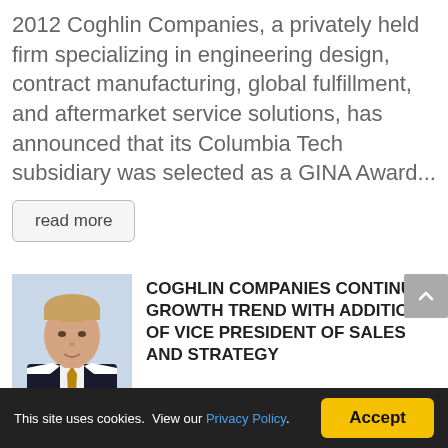2012 Coghlin Companies, a privately held firm specializing in engineering design, contract manufacturing, global fulfillment, and aftermarket service solutions, has announced that its Columbia Tech subsidiary was selected as a GINA Award...
read more
[Figure (photo): Headshot of a man in a dark suit with a light shirt and gold tie, light background]
COGHLIN COMPANIES CONTINUES GROWTH TREND WITH ADDITION OF VICE PRESIDENT OF SALES AND STRATEGY
This site uses cookies. View our Privacy Policy. Accept